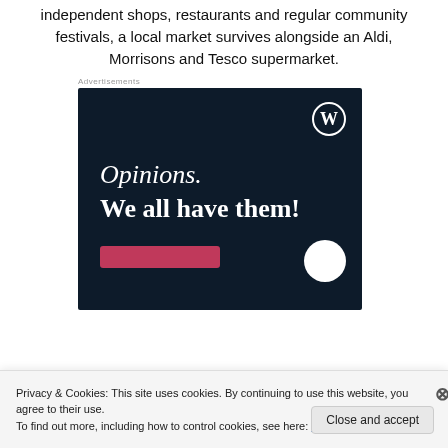independent shops, restaurants and regular community festivals, a local market survives alongside an Aldi, Morrisons and Tesco supermarket.
[Figure (advertisement): WordPress.com advertisement with dark navy background showing WordPress logo (W in circle) in top right, text 'Opinions. We all have them!' in white serif font, a pink/red button at bottom left, and a white circle at bottom right.]
Privacy & Cookies: This site uses cookies. By continuing to use this website, you agree to their use.
To find out more, including how to control cookies, see here: Cookie Policy
Close and accept